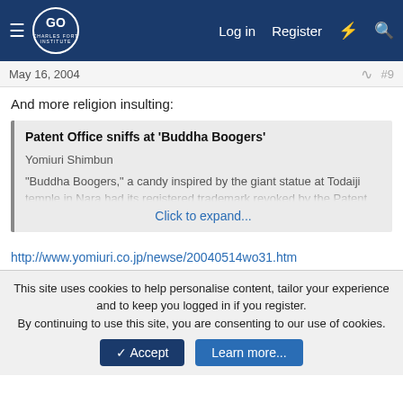[Figure (screenshot): Charles Fort Institute website header with logo, hamburger menu, Log in, Register, lightning bolt and search icons on dark blue background]
May 16, 2004	#9
And more religion insulting:
Patent Office sniffs at 'Buddha Boogers'

Yomiuri Shimbun

"Buddha Boogers," a candy inspired by the giant statue at Todaiji temple in Nara had its registered trademark revoked by the Patent Office following the temple's claim that the name is insulting. The

Click to expand...
http://www.yomiuri.co.jp/newse/20040514wo31.htm
This site uses cookies to help personalise content, tailor your experience and to keep you logged in if you register.
By continuing to use this site, you are consenting to our use of cookies.